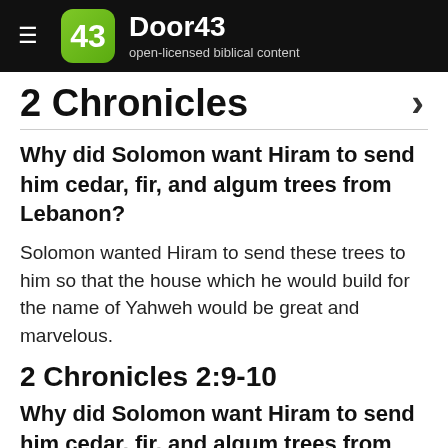Door43 — open-licensed biblical content
2 Chronicles
Why did Solomon want Hiram to send him cedar, fir, and algum trees from Lebanon?
Solomon wanted Hiram to send these trees to him so that the house which he would build for the name of Yahweh would be great and marvelous.
2 Chronicles 2:9-10
Why did Solomon want Hiram to send him cedar, fir, and algum trees from Lebanon?